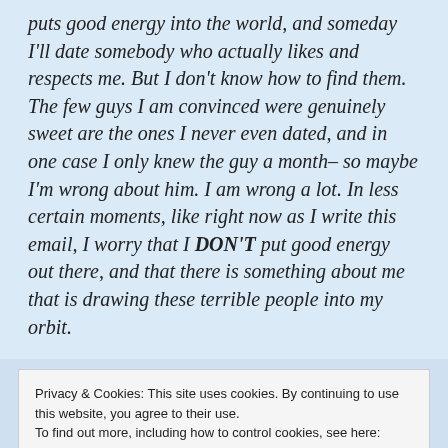puts good energy into the world, and someday I'll date somebody who actually likes and respects me. But I don't know how to find them. The few guys I am convinced were genuinely sweet are the ones I never even dated, and in one case I only knew the guy a month– so maybe I'm wrong about him. I am wrong a lot. In less certain moments, like right now as I write this email, I worry that I DON'T put good energy out there, and that there is something about me that is drawing these terrible people into my orbit.
Privacy & Cookies: This site uses cookies. By continuing to use this website, you agree to their use.
To find out more, including how to control cookies, see here: Cookie Policy
life? Or am I going to spend the next five years– or